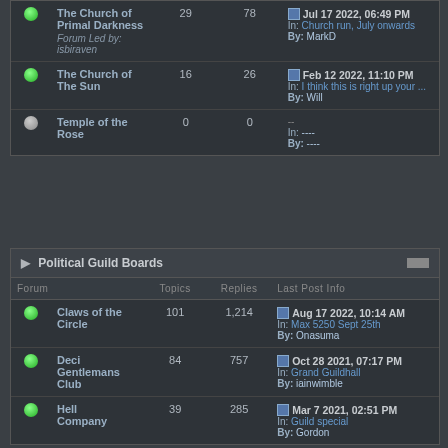| Forum | Topics | Replies | Last Post Info |
| --- | --- | --- | --- |
| The Church of Primal Darkness (Forum Led by: isbiraven) | 29 | 78 | Jul 17 2022, 06:49 PM / In: Church run, July onwards / By: MarkD |
| The Church of The Sun | 16 | 26 | Feb 12 2022, 11:10 PM / In: I think this is right up your ... / By: Will |
| Temple of the Rose | 0 | 0 | -- / In: ---- / By: ---- |
Political Guild Boards
| Forum | Topics | Replies | Last Post Info |
| --- | --- | --- | --- |
| Claws of the Circle | 101 | 1,214 | Aug 17 2022, 10:14 AM / In: Max 5250 Sept 25th / By: Onasuma |
| Deci Gentlemans Club | 84 | 757 | Oct 28 2021, 07:17 PM / In: Grand Guildhall / By: iainwimble |
| Hell Company | 39 | 285 | Mar 7 2021, 02:51 PM / In: Guild special / By: Gordon |